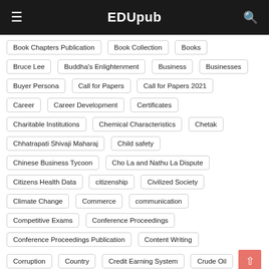EDUpub
Book Chapters Publication
Book Collection
Books
Bruce Lee
Buddha's Enlightenment
Business
Businesses
Buyer Persona
Call for Papers
Call for Papers 2021
Career
Career Development
Certificates
Charitable Institutions
Chemical Characteristics
Chetak
Chhatrapati Shivaji Maharaj
Child safety
Chinese Business Tycoon
Cho La and Nathu La Dispute
Citizens Health Data
citizenship
Civilized Society
Climate Change
Commerce
communication
Competitive Exams
Conference Proceedings
Conference Proceedings Publication
Content Writing
Corruption
Country
Credit Earning System
Crude Oil
Crypto currency
Culture
Cyber Security